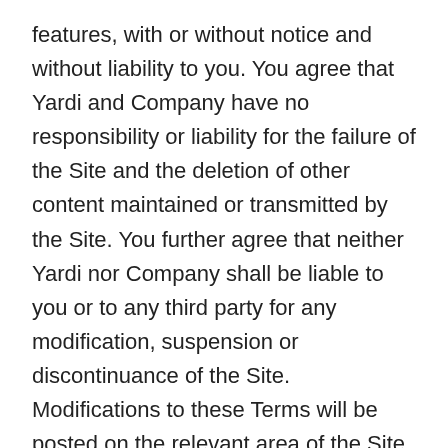features, with or without notice and without liability to you. You agree that Yardi and Company have no responsibility or liability for the failure of the Site and the deletion of other content maintained or transmitted by the Site. You further agree that neither Yardi nor Company shall be liable to you or to any third party for any modification, suspension or discontinuance of the Site. Modifications to these Terms will be posted on the relevant area of the Site and will be effective immediately upon posting. You can review the most current version of the Terms at any time by clicking on the “Terms of Service” link located on webpages throughout the Site. You agree to review the Terms from time to time to ensure you are updated as to any modifications. By continuing to use the Site or Services following any such modification, you accept and agree